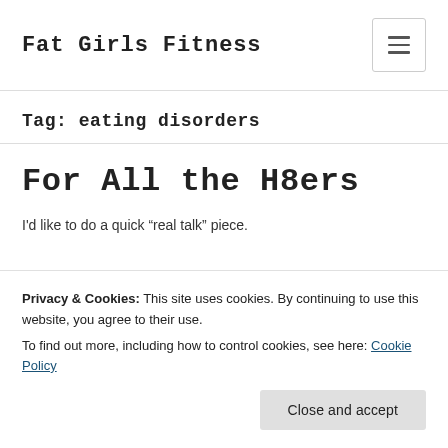Fat Girls Fitness
Tag: eating disorders
For All the H8ers
I'd like to do a quick “real talk” piece.
Privacy & Cookies: This site uses cookies. By continuing to use this website, you agree to their use.
To find out more, including how to control cookies, see here: Cookie Policy
Close and accept